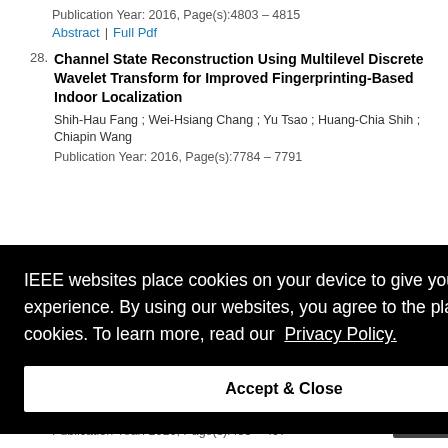Publication Year: 2016, Page(s):4803 – 4815
Abstract | Full Pdf
28. Channel State Reconstruction Using Multilevel Discrete Wavelet Transform for Improved Fingerprinting-Based Indoor Localization
Shih-Hau Fang ; Wei-Hsiang Chang ; Yu Tsao ; Huang-Chia Shih ; Chiapin Wang
Publication Year: 2016, Page(s):7784 – 7791
IEEE websites place cookies on your device to give you the best user experience. By using our websites, you agree to the placement of these cookies. To learn more, read our Privacy Policy.
Accept & Close
Publication Year: 2016, Page(s):485 – 497